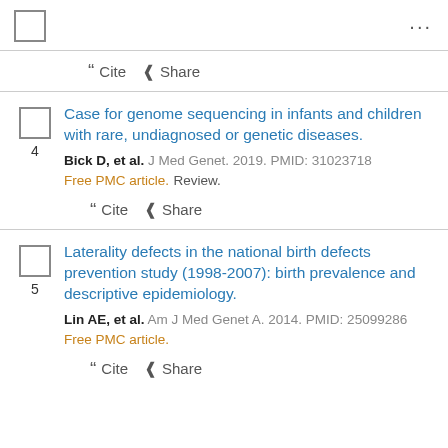[Figure (other): Checkbox (unchecked square) in top-left corner]
...
" Cite < Share
4. Case for genome sequencing in infants and children with rare, undiagnosed or genetic diseases. Bick D, et al. J Med Genet. 2019. PMID: 31023718 Free PMC article. Review.
" Cite < Share
5. Laterality defects in the national birth defects prevention study (1998-2007): birth prevalence and descriptive epidemiology. Lin AE, et al. Am J Med Genet A. 2014. PMID: 25099286 Free PMC article.
" Cite < Share